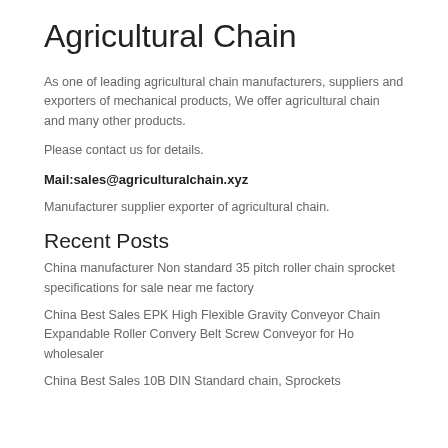Agricultural Chain
As one of leading agricultural chain manufacturers, suppliers and exporters of mechanical products, We offer agricultural chain and many other products.
Please contact us for details.
Mail:sales@agriculturalchain.xyz
Manufacturer supplier exporter of agricultural chain.
Recent Posts
China manufacturer Non standard 35 pitch roller chain sprocket specifications for sale near me factory
China Best Sales EPK High Flexible Gravity Conveyor Chain Expandable Roller Convery Belt Screw Conveyor for Ho wholesaler
China Best Sales 10B DIN Standard chain, Sprockets